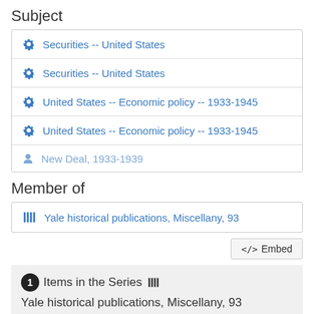Subject
Securities -- United States
Securities -- United States
United States -- Economic policy -- 1933-1945
United States -- Economic policy -- 1933-1945
New Deal, 1933-1939
Member of
Yale historical publications, Miscellany, 93
</>  Embed
1  Items in the Series  |||  Yale historical publications, Miscellany, 93
[Figure (illustration): Thumbnail image of a publication with a blue circular book icon overlay]